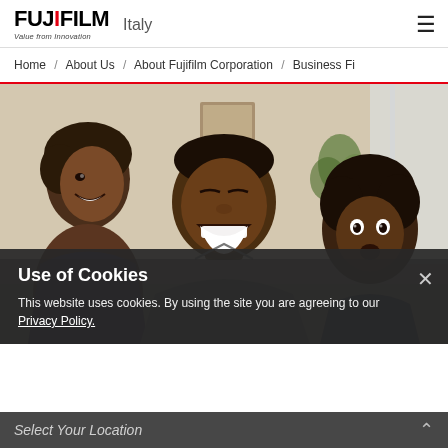FUJIFILM Italy — Value from Innovation
Home / About Us / About Fujifilm Corporation / Business Fi
[Figure (photo): A smiling African-American family — a woman, a man laughing, and a young child with afro hair — photographed indoors with natural light and a blurred background with plants.]
Use of Cookies
This website uses cookies. By using the site you are agreeing to our Privacy Policy.
Select Your Location